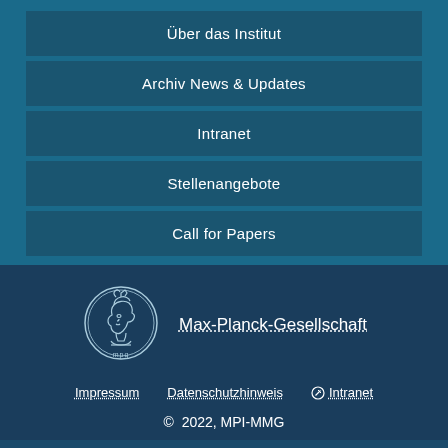Über das Institut
Archiv News & Updates
Intranet
Stellenangebote
Call for Papers
[Figure (logo): Max-Planck-Gesellschaft circular logo with Minerva head profile, white outline on dark blue background]
Max-Planck-Gesellschaft
Impressum   Datenschutzhinweis   ⊘ Intranet
© 2022, MPI-MMG